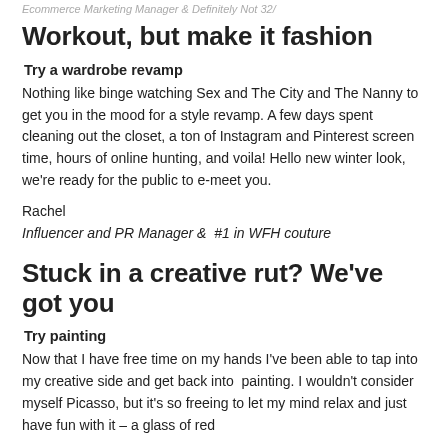Ecommerce Marketing Manager & Definitely Not 32/
Workout, but make it fashion
Try a wardrobe revamp
Nothing like binge watching Sex and The City and The Nanny to get you in the mood for a style revamp. A few days spent cleaning out the closet, a ton of Instagram and Pinterest screen time, hours of online hunting, and voila! Hello new winter look, we're ready for the public to e-meet you.
Rachel
Influencer and PR Manager &  #1 in WFH couture
Stuck in a creative rut? We've got you
Try painting
Now that I have free time on my hands I've been able to tap into my creative side and get back into  painting. I wouldn't consider myself Picasso, but it's so freeing to let my mind relax and just have fun with it – a glass of red